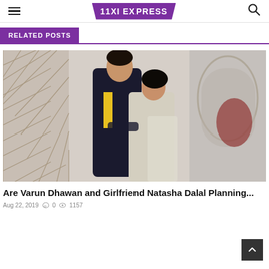11XI EXPRESS
RELATED POSTS
[Figure (photo): A couple posing together indoors — man in dark traditional Indian outfit with yellow accent, woman in light silver/cream lehenga, standing in front of a decorative lattice background with mirror.]
Are Varun Dhawan and Girlfriend Natasha Dalal Planning...
Aug 22, 2019   0   1157